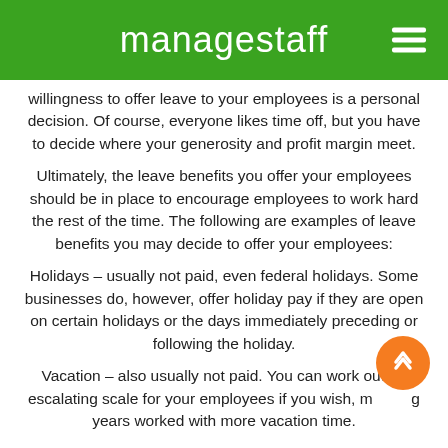managestaff
willingness to offer leave to your employees is a personal decision. Of course, everyone likes time off, but you have to decide where your generosity and profit margin meet.
Ultimately, the leave benefits you offer your employees should be in place to encourage employees to work hard the rest of the time. The following are examples of leave benefits you may decide to offer your employees:
Holidays – usually not paid, even federal holidays. Some businesses do, however, offer holiday pay if they are open on certain holidays or the days immediately preceding or following the holiday.
Vacation – also usually not paid. You can work out an escalating scale for your employees if you wish, meaning years worked with more vacation time.